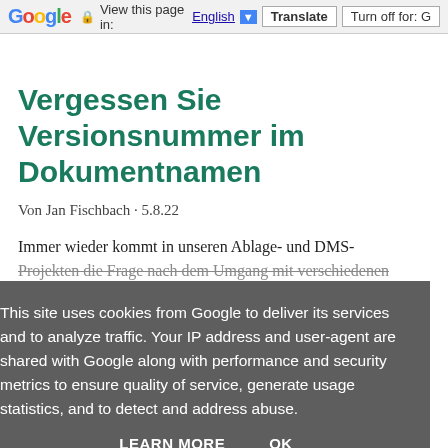Google  View this page in: English [▼]  Translate  Turn off for: G
Vergessen Sie Versionsnummer im Dokumentnamen
Von Jan Fischbach · 5.8.22
Immer wieder kommt in unseren Ablage- und DMS-Projekten die Frage nach dem Umgang mit verschiedenen
This site uses cookies from Google to deliver its services and to analyze traffic. Your IP address and user-agent are shared with Google along with performance and security metrics to ensure quality of service, generate usage statistics, and to detect and address abuse.
LEARN MORE   OK